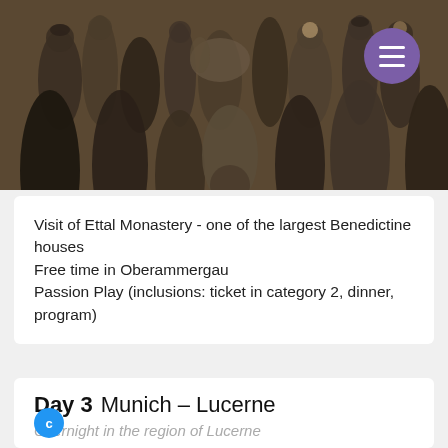[Figure (photo): A scene from the Oberammergau Passion Play showing a crowd of people in biblical costumes gathered around figures, including what appears to be a donkey in the crowd.]
Visit of Ettal Monastery - one of the largest Benedictine houses
Free time in Oberammergau
Passion Play (inclusions: ticket in category 2, dinner, program)
Day 3  Munich – Lucerne
Overnight in the region of Lucerne